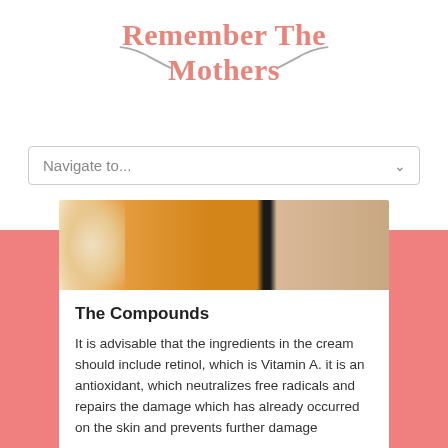Remember The Mothers
[Figure (screenshot): Navigation dropdown bar with text 'Navigate to...' and a chevron arrow on a white background]
[Figure (photo): Close-up photo of a cream or lotion container with orange and beige tones and a black dividing line]
The Compounds
It is advisable that the ingredients in the cream should include retinol, which is Vitamin A. it is an antioxidant, which neutralizes free radicals and repairs the damage which has already occurred on the skin and prevents further damage